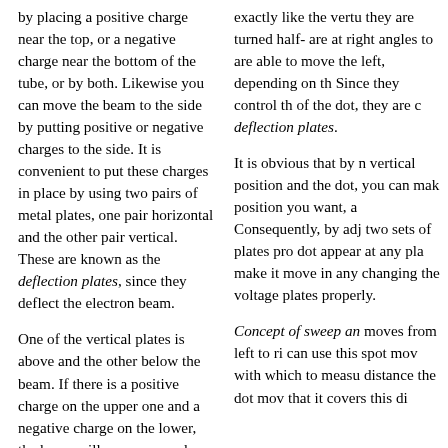by placing a positive charge near the top, or a negative charge near the bottom of the tube, or by both. Likewise you can move the beam to the side by putting positive or negative charges to the side. It is convenient to put these charges in place by using two pairs of metal plates, one pair horizontal and the other pair vertical. These are known as the deflection plates, since they deflect the electron beam.
One of the vertical plates is above and the other below the beam. If there is a positive charge on the upper one and a negative charge on the lower, the beam will move upward, since the positive charge attracts the electrons and the negative charge repels them. These charges can be placed on the plates this way by connecting the + terminal of a battery to the upper plate and the - terminal of the same battery to the lower plate. Since these plates move the beam up or down, they are called the vertical deflecting plates (V.D.P.). Remember that they lie horizontally in the tube, but the direction in which they move the beam is
exactly like the vertu they are turned half- are at right angles to are able to move the left, depending on th Since they control th of the dot, they are c deflection plates.
It is obvious that by n vertical position and the dot, you can mak position you want, a Consequently, by adj two sets of plates pro dot appear at any pla make it move in any changing the voltage plates properly.
Concept of sweep an moves from left to ri can use this spot mov with which to measu distance the dot mov that it covers this di